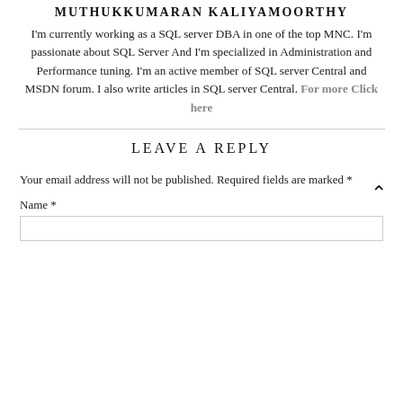MUTHUKKUMARAN KALIYAMOORTHY
I'm currently working as a SQL server DBA in one of the top MNC. I'm passionate about SQL Server And I'm specialized in Administration and Performance tuning. I'm an active member of SQL server Central and MSDN forum. I also write articles in SQL server Central. For more Click here
LEAVE A REPLY
Your email address will not be published. Required fields are marked *
Name *